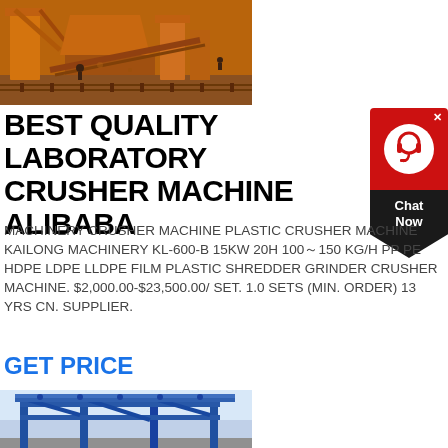[Figure (photo): Industrial crusher machinery at a worksite, orange/brown colored heavy equipment]
BEST QUALITY LABORATORY CRUSHER MACHINE ALIBABA
[Figure (other): Chat Now customer support widget with red background and headset icon]
MACHINERY CRUSHER MACHINE PLASTIC CRUSHER MACHINE KAILONG MACHINERY KL-600-B 15KW 20H 100~150 KG/H PP PE HDPE LDPE LLDPE FILM PLASTIC SHREDDER GRINDER CRUSHER MACHINE. $2,000.00-$23,500.00/ SET. 1.0 SETS (MIN. ORDER) 13 YRS CN. SUPPLIER.
GET PRICE
[Figure (photo): Blue steel industrial conveyor or frame structure outdoors]